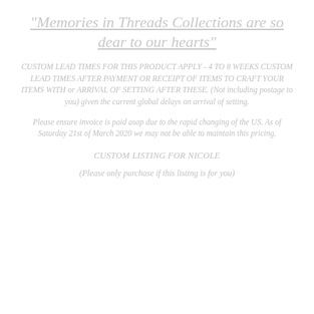"Memories in Threads Collections are so dear to our hearts"
CUSTOM LEAD TIMES FOR THIS PRODUCT APPLY - 4 TO 8 WEEKS CUSTOM LEAD TIMES AFTER PAYMENT OR RECEIPT OF ITEMS TO CRAFT YOUR ITEMS WITH or ARRIVAL OF SETTING AFTER THESE. (Not including postage to you) given the current global delays on arrival of setting.
Please ensure invoice is paid asap due to the rapid changing of the US. As of Saturday 21st of March 2020 we may not be able to maintain this pricing.
CUSTOM LISTING FOR NICOLE
(Please only purchase if this listing is for you)